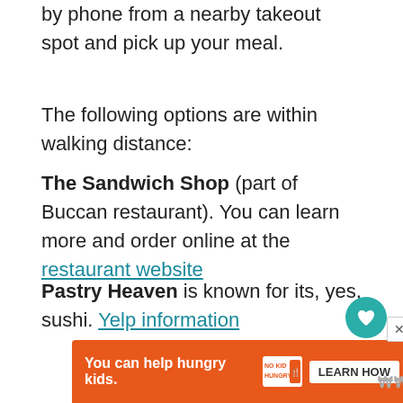by phone from a nearby takeout spot and pick up your meal.
The following options are within walking distance:
The Sandwich Shop (part of Buccan restaurant). You can learn more and order online at the restaurant website
Pastry Heaven is known for its, yes, sushi. Yelp information
[Figure (other): Orange advertisement banner at bottom: 'You can help hungry kids.' with No Kid Hungry logo and LEARN HOW button]